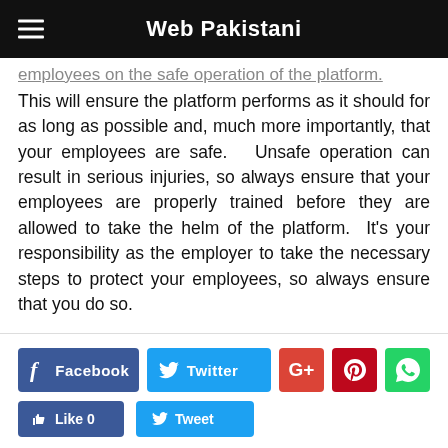Web Pakistani
employees on the safe operation of the platform. This will ensure the platform performs as it should for as long as possible and, much more importantly, that your employees are safe.  Unsafe operation can result in serious injuries, so always ensure that your employees are properly trained before they are allowed to take the helm of the platform.  It's your responsibility as the employer to take the necessary steps to protect your employees, so always ensure that you do so.
[Figure (infographic): Social media share buttons: Facebook, Twitter, Google+, Pinterest, WhatsApp, Like 0, Tweet]
RELATED ARTICLES   MORE FROM AUTHOR